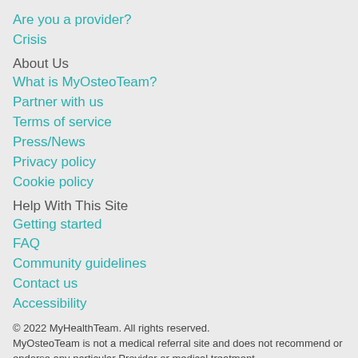Are you a provider?
Crisis
About Us
What is MyOsteoTeam?
Partner with us
Terms of service
Press/News
Privacy policy
Cookie policy
Help With This Site
Getting started
FAQ
Community guidelines
Contact us
Accessibility
© 2022 MyHealthTeam. All rights reserved. MyOsteoTeam is not a medical referral site and does not recommend or endorse any particular Provider or medical treatment.